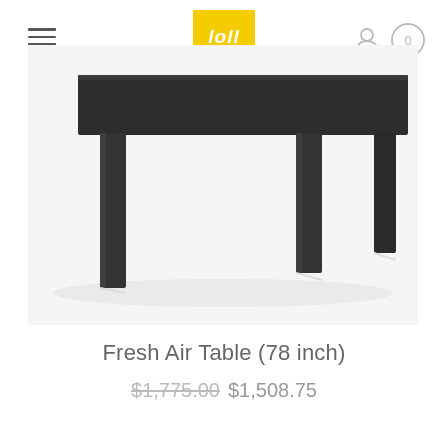[Figure (screenshot): Loll Designs website header with hamburger menu on left, yellow Loll Designs logo in center, user icon and cart (0) on right]
[Figure (photo): Photo of a modern outdoor dining table (Fresh Air Table) with dark charcoal/black rectangular tabletop and four square legs, photographed from a low angle against a white background]
Fresh Air Table (78 inch)
$1,775.00 $1,508.75